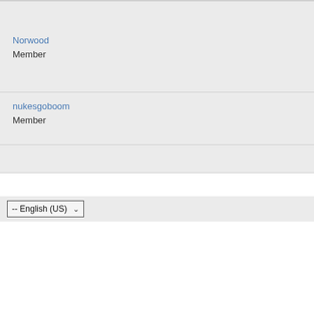Norwood
Member
nukesgoboom
Member
-- English (US)